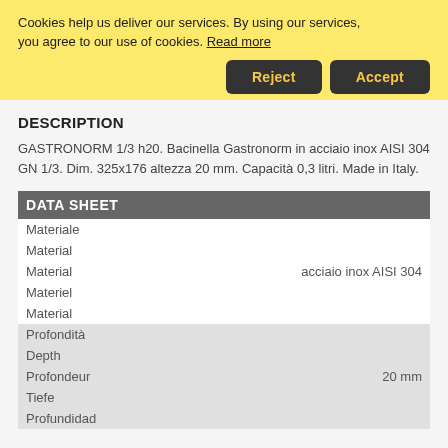Cookies help us deliver our services. By using our services, you agree to our use of cookies. Read more
Reject | Accept
DESCRIPTION
GASTRONORM 1/3 h20. Bacinella Gastronorm in acciaio inox AISI 304 GN 1/3. Dim. 325x176 altezza 20 mm. Capacità 0,3 litri. Made in Italy.
| DATA SHEET |  |
| --- | --- |
| Materiale |  |
| Material |  |
| Material | acciaio inox AISI 304 |
| Materiel |  |
| Material |  |
| Profondità |  |
| Depth |  |
| Profondeur | 20 mm |
| Tiefe |  |
| Profundidad |  |